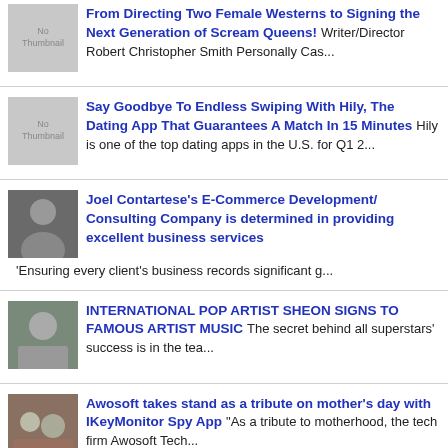From Directing Two Female Westerns to Signing the Next Generation of Scream Queens! Writer/Director Robert Christopher Smith Personally Cas...
Say Goodbye To Endless Swiping With Hily, The Dating App That Guarantees A Match In 15 Minutes Hily is one of the top dating apps in the U.S. for Q1 2...
Joel Contartese's E-Commerce Development/ Consulting Company is determined in providing excellent business services 'Ensuring every client's business records significant g...
INTERNATIONAL POP ARTIST SHEON SIGNS TO FAMOUS ARTIST MUSIC The secret behind all superstars' success is in the tea...
Awosoft takes stand as a tribute on mother's day with IKeyMonitor Spy App "As a tribute to motherhood, the tech firm Awosoft Tech...